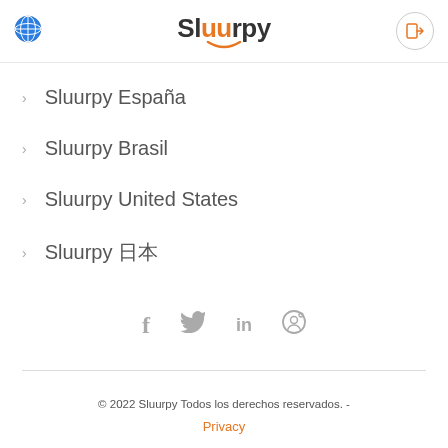Sluurpy
Sluurpy España
Sluurpy Brasil
Sluurpy United States
Sluurpy 日本
[Figure (infographic): Social media icons: Facebook (f), Twitter (bird), LinkedIn (in), Pinterest (P)]
© 2022 Sluurpy Todos los derechos reservados. - Privacy